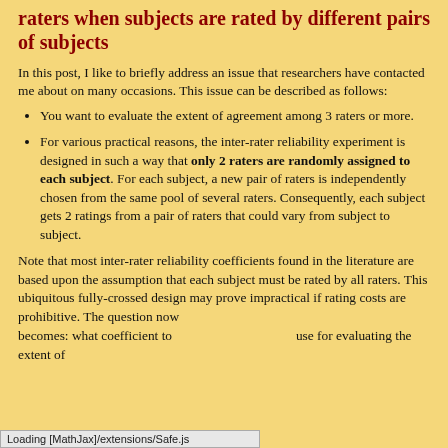raters when subjects are rated by different pairs of subjects
In this post, I like to briefly address an issue that researchers have contacted me about on many occasions.  This issue can be described as follows:
You want to evaluate the extent of agreement among 3 raters or more.
For various practical reasons, the inter-rater reliability experiment is designed in such a way that only 2 raters are randomly assigned to each subject.  For each subject, a new pair of raters is independently chosen from the same pool of several raters. Consequently, each subject gets 2 ratings from a pair of raters that could vary from subject to subject.
Note that most inter-rater reliability coefficients found in the literature are based upon the assumption that each subject must be rated by all raters.  This ubiquitous fully-crossed design may prove impractical if rating costs are prohibitive.  The question now becomes: what coefficient to use for evaluating the extent of
Loading [MathJax]/extensions/Safe.js